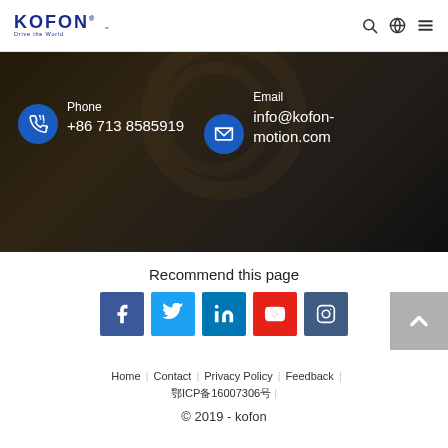KOFON Drive the World
[Figure (photo): Industrial machinery background with gears, showing contact information: Phone +86 713 8585919 and Email info@kofon-motion.com with blue circular icons]
Recommend this page
[Figure (infographic): Social media sharing buttons: Facebook, Twitter, LinkedIn, YouTube, Instagram]
Home | Contact | Privacy Policy | Feedback | 鄂ICP备16007306号 | © 2019 - kofon